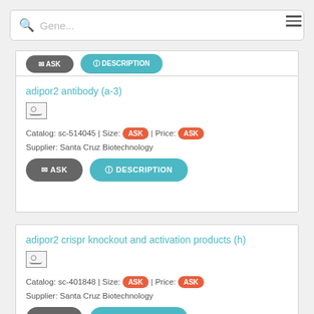[Figure (screenshot): Search bar with magnifying glass icon and placeholder text 'Gene...' and hamburger menu icon]
adipor2 antibody (a-3)
Catalog: sc-514045 | Size: ASK | Price: ASK
Supplier: Santa Cruz Biotechnology
ASK   DESCRIPTION
adipor2 crispr knockout and activation products (h)
Catalog: sc-401848 | Size: ASK | Price: ASK
Supplier: Santa Cruz Biotechnology
ASK   DESCRIPTION
deoxschizandrin